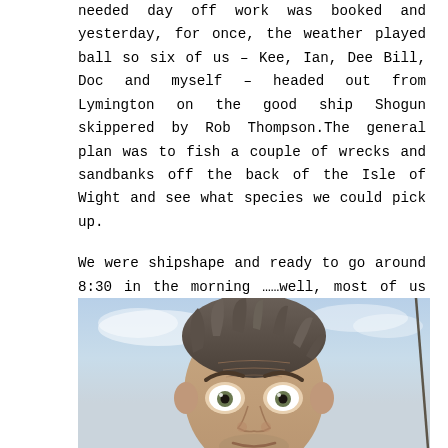needed day off work was booked and yesterday, for once, the weather played ball so six of us – Kee, Ian, Dee Bill, Doc and myself – headed out from Lymington on the good ship Shogun skippered by Rob Thompson.The general plan was to fish a couple of wrecks and sandbanks off the back of the Isle of Wight and see what species we could pick up.
We were shipshape and ready to go around 8:30 in the morning ……well, most of us were shipshape and ready but there was one notable exception!!
[Figure (photo): Close-up photo of a man's face with raised eyebrows looking surprised or wide-eyed, with messy grey-brown hair, against a blue sky background with a fishing rod visible at the right edge.]